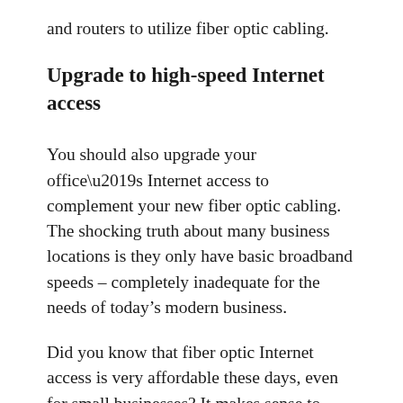and routers to utilize fiber optic cabling.
Upgrade to high-speed Internet access
You should also upgrade your office’s Internet access to complement your new fiber optic cabling. The shocking truth about many business locations is they only have basic broadband speeds – completely inadequate for the needs of today’s modern business.
Did you know that fiber optic Internet access is very affordable these days, even for small businesses? It makes sense to upgrade to such